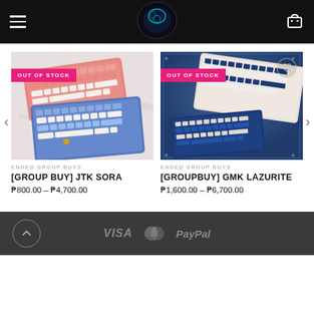Navigation header with hamburger menu, logo, and cart icon
[Figure (photo): OUT OF STOCK: JTK Sora keyboard keycap set — pink/salmon and blue colorways on marble surface]
ENDED GROUP BUYS
[GROUP BUY] JTK SORA
₱800.00 – ₱4,700.00
[Figure (photo): OUT OF STOCK: GMK Lazurite keyboard keycap set — navy blue and white/cream colorways on dark blue background]
ENDED GROUP BUYS
[GROUPBUY] GMK LAZURITE
₱1,600.00 – ₱6,700.00
VISA  MasterCard  PayPal